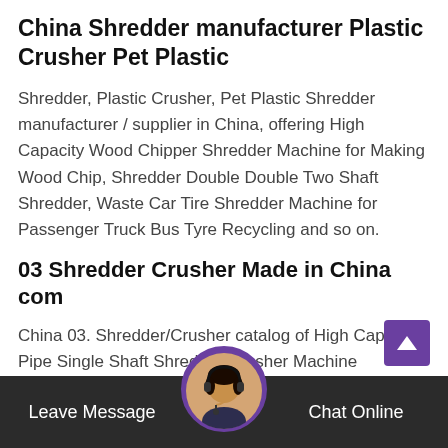China Shredder manufacturer Plastic Crusher Pet Plastic
Shredder, Plastic Crusher, Pet Plastic Shredder manufacturer / supplier in China, offering High Capacity Wood Chipper Shredder Machine for Making Wood Chip, Shredder Double Double Two Shaft Shredder, Waste Car Tire Shredder Machine for Passenger Truck Bus Tyre Recycling and so on.
03 Shredder Crusher Made in China com
China 03. Shredder/Crusher catalog of High Capacity Pipe Single Shaft Shredder Crusher Machine Granulators for Plastic Recycling, Mini Small Plastic Shredder Machine provided by China manufacturer - Jiangsu Aceretech Machinery Co., Ltd., page1.
China Waste Tire Recycling Machinery manufacturer
Leave Message   Chat Online